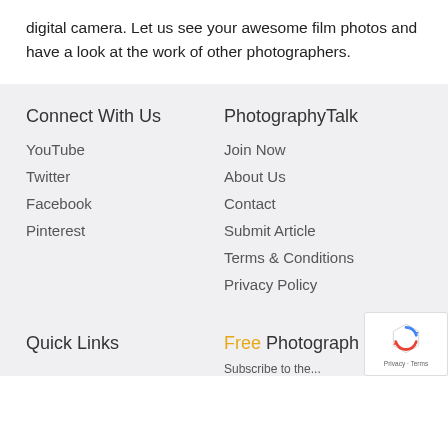digital camera. Let us see your awesome film photos and have a look at the work of other photographers.
Connect With Us
PhotographyTalk
YouTube
Join Now
Twitter
About Us
Facebook
Contact
Pinterest
Submit Article
Terms & Conditions
Privacy Policy
Quick Links
Free Photography